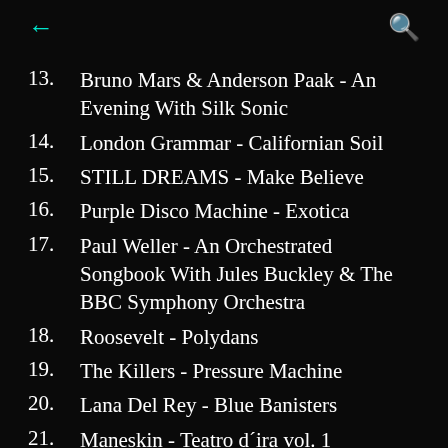← (back) Q (search)
13. Bruno Mars & Anderson Paak - An Evening With Silk Sonic
14. London Grammar - Californian Soil
15. STILL DREAMS - Make Believe
16. Purple Disco Machine - Exotica
17. Paul Weller - An Orchestrated Songbook With Jules Buckley & The BBC Symphony Orchestra
18. Roosevelt - Polydans
19. The Killers - Pressure Machine
20. Lana Del Rey - Blue Banisters
21. Maneskin - Teatro d´ira vol. 1